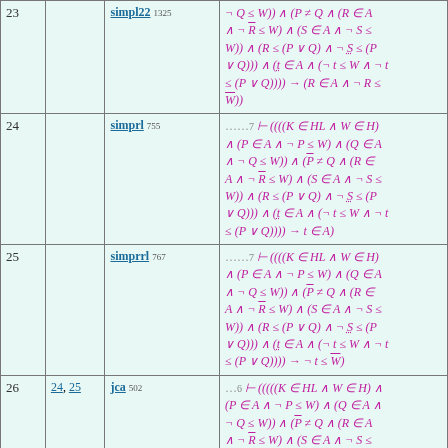| # | Refs | Rule | Formula |
| --- | --- | --- | --- |
| 23 |  | simpl22 1325 | ¬Q≤W)∧(P≠Q∧(R∈A∧¬R̄≤W)∧(S∈A∧¬S≤W))∧(R̄≤(P∨Q)∧¬S≤(P∨Q)))∧(t∈A∧(¬t≤W∧¬t≤(P∨Q))))→(R∈A∧¬R≤W̄)) |
| 24 |  | simprl 755 | ……7⊢((((K∈HL∧W∈H)∧(P∈A∧¬P≤W)∧(Q∈A∧¬Q≤W))∧(P̄≠Q∧(R∈A∧¬R̄≤W)∧(S∈A∧¬S≤W))∧(R̄≤(P∨Q)∧¬S≤(P∨Q)))∧(t∈A∧(¬t≤W∧¬t≤(P∨Q))))→t∈A) |
| 25 |  | simprrl 767 | ……7⊢((((K∈HL∧W∈H)∧(P∈A∧¬P≤W)∧(Q∈A∧¬Q≤W))∧(P̄≠Q∧(R∈A∧¬R̄≤W)∧(S∈A∧¬S≤W))∧(R̄≤(P∨Q)∧¬S≤(P∨Q)))∧(t∈A∧(¬t≤W∧¬t≤(P∨Q))))→¬t≤W̄) |
| 26 | 24, 25 | jca 502 | ….6⊢(((((K∈HL∧W∈H)∧(P∈A∧¬P≤W)∧(Q∈A∧¬Q≤W))∧(P̄≠Q∧(R∈A∧¬R̄≤W)∧(S∈A∧¬S≤W))∧(R̄≤(P∨Q)∧¬S≤(P∨Q)))∧(t∈A∧(¬t≤W∧¬t≤(P∨Q))))→(t∈A∧¬t≤ |